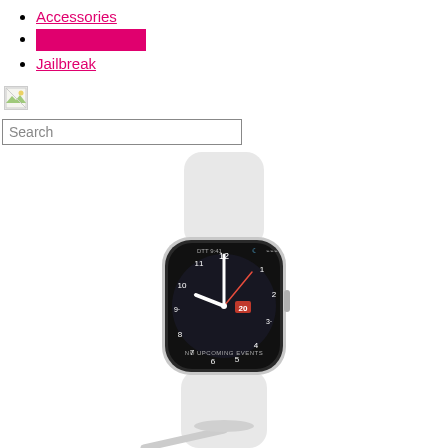Accessories
[redacted]
Jailbreak
[Figure (illustration): Small broken image icon placeholder]
Search
[Figure (photo): Apple Watch with white sport band on magnetic charging cable, watch face showing analog clock face with numerals, time approximately 9:41, 'NO UPCOMING EVENTS' text at bottom of watch display, on white background]